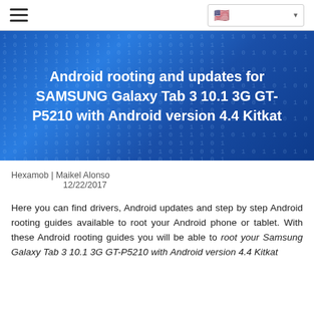☰  🇺🇸 ▾
[Figure (screenshot): Blue hero banner with binary code background pattern]
Android rooting and updates for SAMSUNG Galaxy Tab 3 10.1 3G GT-P5210 with Android version 4.4 Kitkat
Hexamob | Maikel Alonso
12/22/2017
Here you can find drivers, Android updates and step by step Android rooting guides available to root your Android phone or tablet. With these Android rooting guides you will be able to root your Samsung Galaxy Tab 3 10.1 3G GT-P5210 with Android version 4.4 Kitkat